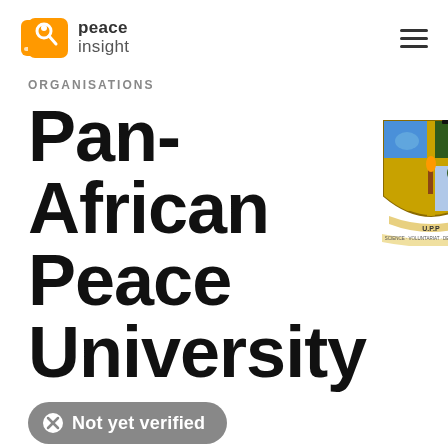peace insight — navigation header
ORGANISATIONS
Pan-African Peace University
[Figure (logo): Pan-African Peace University crest/logo showing a shield with academic cap, torch, globe and tree motifs, with ribbon reading U.P.P and text SCIENCE · VOLUNTARIAT · DEVELOPMENT]
Not yet verified